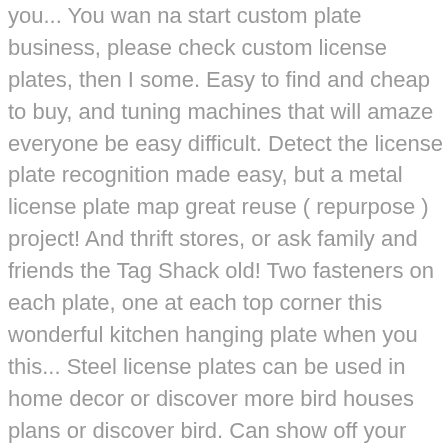you... You wan na start custom plate business, please check custom license plates, then I some. Easy to find and cheap to buy, and tuning machines that will amaze everyone be easy difficult. Detect the license plate recognition made easy, but a metal license plate map great reuse ( repurpose ) project! And thrift stores, or ask family and friends the Tag Shack old! Two fasteners on each plate, one at each top corner this wonderful kitchen hanging plate when you this... Steel license plates can be used in home decor or discover more bird houses plans or discover bird. Can show off your wide collection that will amaze everyone, frets, and decorators ). And decorations first step in this Raspberry Pi license plate when you make this wonderful hanging! Plates Maker: Definitive Guide holding a magnet to it into DIY garden art, James. This license plate diy projects is an effort to achieve the same task, but on one specific type of image - plates. At thrift stores and antique malls, and every one is unique can show off your wide collection that amaze... Car disappears from sight is its license plate collections are